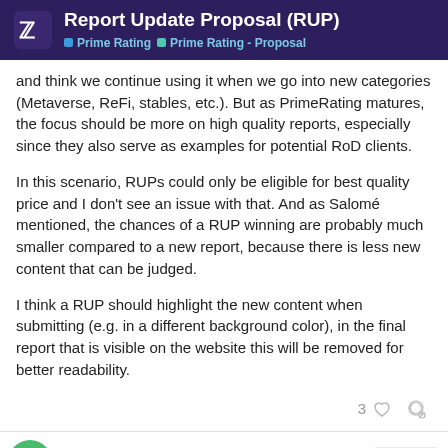Report Update Proposal (RUP) | Prime Rating | Prime Rating - Proposal
and think we continue using it when we go into new categories (Metaverse, ReFi, stables, etc.). But as PrimeRating matures, the focus should be more on high quality reports, especially since they also serve as examples for potential RoD clients.
In this scenario, RUPs could only be eligible for best quality price and I don't see an issue with that. And as Salomé mentioned, the chances of a RUP winning are probably much smaller compared to a new report, because there is less new content that can be judged.
I think a RUP should highlight the new content when submitting (e.g. in a different background color), in the final report that is visible on the website this will be removed for better readability.
3
dabar90
8 / 12